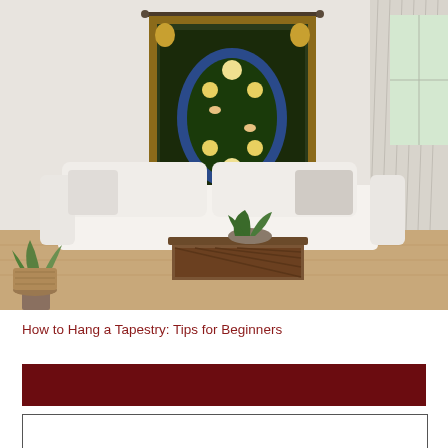[Figure (photo): A living room scene showing a decorative tapestry with William Morris Strawberry Thief design hanging on a white wall above a white sofa. A wooden coffee table with a plant centerpiece is in the foreground. A tall plant and wicker basket are on the left, and floor-length curtains and a window are on the right.]
How to Hang a Tapestry: Tips for Beginners